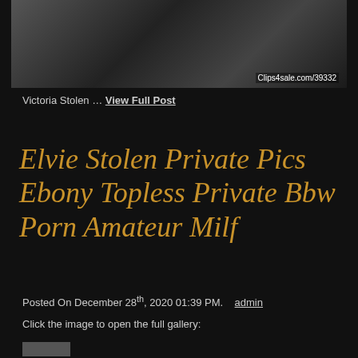[Figure (photo): Photo thumbnail with watermark Clips4sale.com/39332]
Victoria Stolen … View Full Post
Elvie Stolen Private Pics Ebony Topless Private Bbw Porn Amateur Milf
Posted On December 28th, 2020 01:39 PM.   admin
Click the image to open the full gallery: